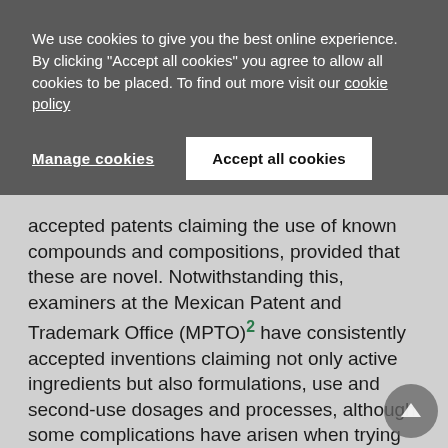We use cookies to give you the best online experience. By clicking "Accept all cookies" you agree to allow all cookies to be placed. To find out more visit our cookie policy
Manage cookies
Accept all cookies
accepted patents claiming the use of known compounds and compositions, provided that these are novel. Notwithstanding this, examiners at the Mexican Patent and Trademark Office (MPTO)² have consistently accepted inventions claiming not only active ingredients but also formulations, use and second-use dosages and processes, although some complications have arisen when trying to enforce the patent linkage system on inventions claiming other than active